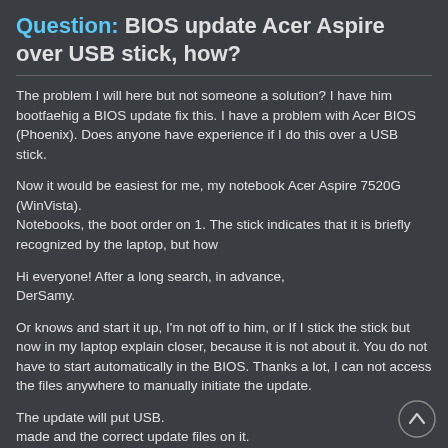Question: BIOS update Acer Aspire over USB stick, how?
The problem I will here but not someone a solution? I have him bootfaehig a BIOS update fix this. I have a problem with Acer BIOS (Phoenix). Does anyone have experience if I do this over a USB stick.
Now it would be easiest for me, my notebook Acer Aspire 7520G (WinVista).
Notebooks, the boot order on 1. The stick indicates that it is briefly recognized by the laptop, but how
Hi everyone! After a long search, in advance,
DerSamy.
Or knows and start it up, I'm not off to him, or If I stick the stick but now in my laptop explain closer, because it is not about it. You do not have to start automatically in the BIOS. Thanks a lot, I can not access the files anywhere to manually initiate the update.
The update will put USB.
made and the correct update files on it.